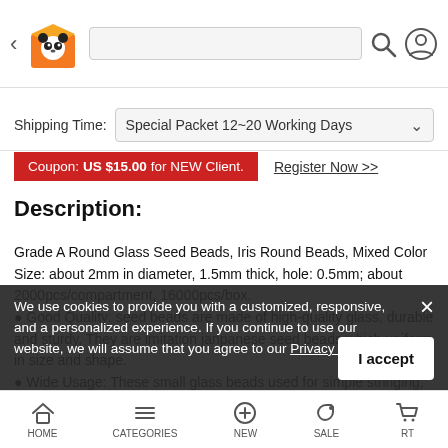Navigation bar with back arrow, panda logo, search bar, search icon, and account icon
Shipping Time: Special Packet 12~20 Working Days
Coupon: US $15.00 for NEW Client. Register Now >>
Description:
Grade A Round Glass Seed Beads, Iris Round Beads, Mixed Color
Size: about 2mm in diameter, 1.5mm thick, hole: 0.5mm; about 2000pcs/compartment, 16000pcs/box.
• Good Quality: seed beads are made of high-quality glass, durable and sturdy, They are imitation janpanese seed beads which uniform in size and shape.
• Wide Usage: These small glass beads used for simple stringing, or as spacers between other beads in jewelry. Suitable for DIY waist beads body chain, seed beads pattern bracelets, necklaces, earrings, jewelry accessories, clothing and various fiber crafts embellishment.
Priced per 1 Box
We use cookies to provide you with a customized, responsive, and a personalized experience. If you continue to use our website, we will assume that you agree to our Privacy Policy.
HOME  CATEGORIES  NEW  SALE  CART